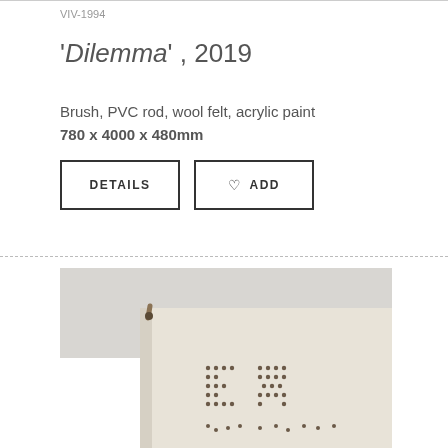VIV-1994
'Dilemma', 2019
Brush, PVC rod, wool felt, acrylic paint
780 x 4000 x 480mm
[Figure (photo): Close-up photograph of a beige/cream wool felt panel with a wooden rod attached at the top left. The felt surface shows a pattern of small dots/holes arranged to form letter-like shapes, possibly 'EX' or similar characters, made by perforating the material.]